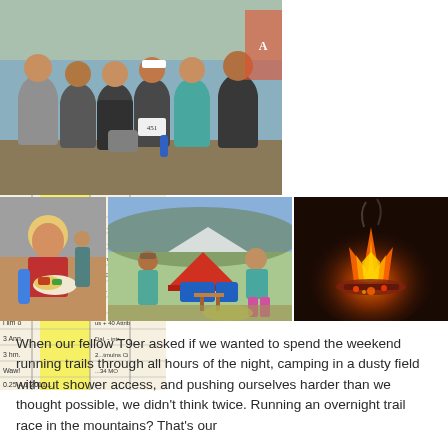[Figure (photo): Group of women runners posing together outdoors under a tent at a trail race, smiling, wearing athletic gear and race bibs]
[Figure (photo): Handwritten race tracking sheet with yellow highlighted column, showing runner numbers and times]
[Figure (photo): Woman eating food from a plate at a trail race event]
[Figure (photo): Campsite with red tent, blue camping chairs, and two women standing in a grassy field]
[Figure (photo): Close-up of a campfire burning at night]
When our fellow T9er asked if we wanted to spend the weekend running trails through all hours of the night, camping in a dusty field without shower access, and pushing ourselves harder than we thought possible, we didn't think twice. Running an overnight trail race in the mountains? That's our